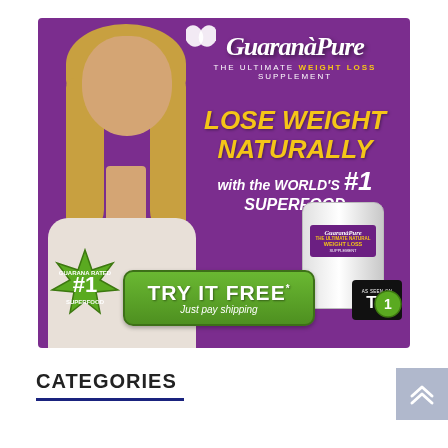[Figure (advertisement): GuaranaPure weight loss supplement advertisement with purple background. Features a smiling blonde woman on the left, GuaranaPure logo at top center, text 'LOSE WEIGHT NATURALLY with the WORLD'S SUPERFOOD #1', a product bottle, a green #1 badge, a 'TRY IT FREE Just pay shipping' green button, and an 'AS SEEN ON TV' badge.]
CATEGORIES